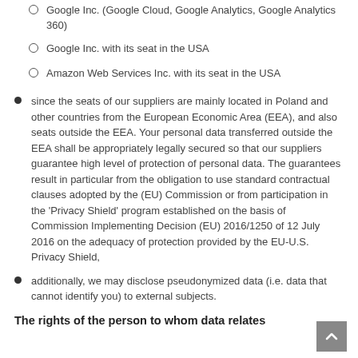Google Inc. (Google Cloud, Google Analytics, Google Analytics 360)
Google Inc. with its seat in the USA
Amazon Web Services Inc. with its seat in the USA
since the seats of our suppliers are mainly located in Poland and other countries from the European Economic Area (EEA), and also seats outside the EEA. Your personal data transferred outside the EEA shall be appropriately legally secured so that our suppliers guarantee high level of protection of personal data. The guarantees result in particular from the obligation to use standard contractual clauses adopted by the (EU) Commission or from participation in the 'Privacy Shield' program established on the basis of Commission Implementing Decision (EU) 2016/1250 of 12 July 2016 on the adequacy of protection provided by the EU-U.S. Privacy Shield,
additionally, we may disclose pseudonymized data (i.e. data that cannot identify you) to external subjects.
The rights of the person to whom data relates